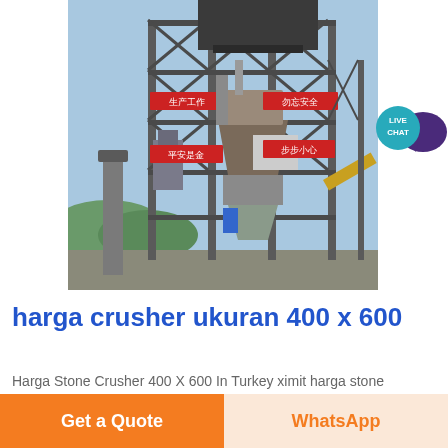[Figure (photo): Industrial stone crusher / processing plant facility with steel scaffolding structure, hopper/tower equipment, Chinese safety banners (红色横幅: 生产工作、勿忘安全、步步小心、平安是金), and chimney stack. Blue sky background.]
harga crusher ukuran 400 x 600
Harga Stone Crusher 400 X 600 In Turkey ximit harga stone
Get a Quote
WhatsApp